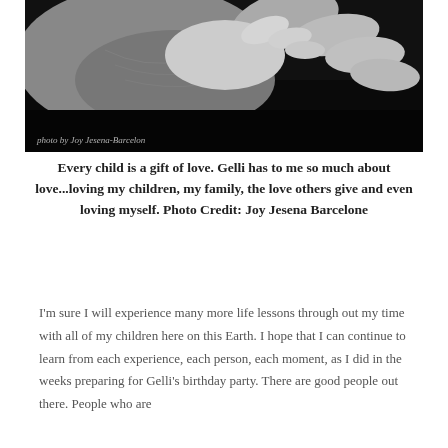[Figure (photo): Black and white close-up photograph of hands, with watermark text 'photo by Joy Jesena-Barcelon' in the lower left corner.]
Every child is a gift of love. Gelli has to me so much about love...loving my children, my family, the love others give and even loving myself. Photo Credit: Joy Jesena Barcelone
I'm sure I will experience many more life lessons through out my time with all of my children here on this Earth. I hope that I can continue to learn from each experience, each person, each moment, as I did in the weeks preparing for Gelli's birthday party. There are good people out there. People who are